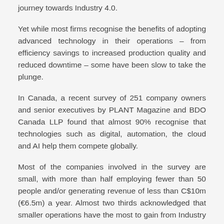journey towards Industry 4.0.
Yet while most firms recognise the benefits of adopting advanced technology in their operations – from efficiency savings to increased production quality and reduced downtime – some have been slow to take the plunge.
In Canada, a recent survey of 251 company owners and senior executives by PLANT Magazine and BDO Canada LLP found that almost 90% recognise that technologies such as digital, automation, the cloud and AI help them compete globally.
Most of the companies involved in the survey are small, with more than half employing fewer than 50 people and/or generating revenue of less than C$10m (€6.5m) a year. Almost two thirds acknowledged that smaller operations have the most to gain from Industry 4.0. However, they are lagging behind their bigger competitors in adopting new industrial tech. For example, just 24% are using the Industrial Internet of